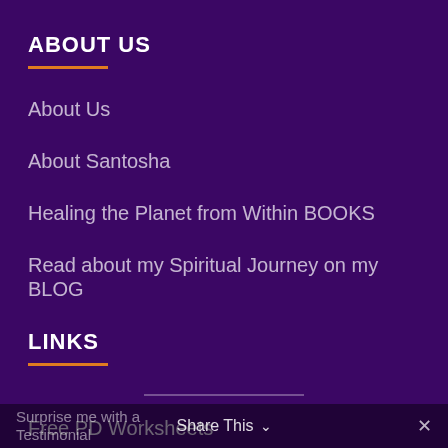ABOUT US
About Us
About Santosha
Healing the Planet from Within BOOKS
Read about my Spiritual Journey on my BLOG
LINKS
Free PD Worksheets
Surprise me with a Testimonial
Share This